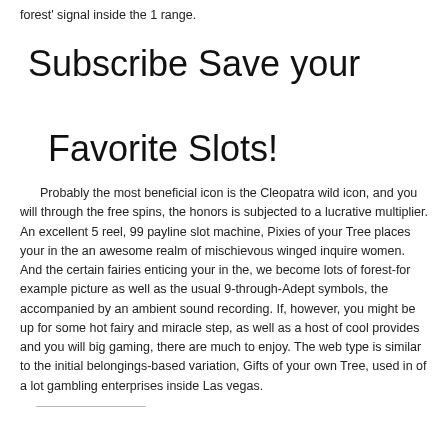forest' signal inside the 1 range.
Subscribe Save your Favorite Slots!
Probably the most beneficial icon is the Cleopatra wild icon, and you will through the free spins, the honors is subjected to a lucrative multiplier. An excellent 5 reel, 99 payline slot machine, Pixies of your Tree places your in the an awesome realm of mischievous winged inquire women. And the certain fairies enticing your in the, we become lots of forest-for example picture as well as the usual 9-through-Adept symbols, the accompanied by an ambient sound recording. If, however, you might be up for some hot fairy and miracle step, as well as a host of cool provides and you will big gaming, there are much to enjoy. The web type is similar to the initial belongings-based variation, Gifts of your own Tree, used in of a lot gambling enterprises inside Las vegas.